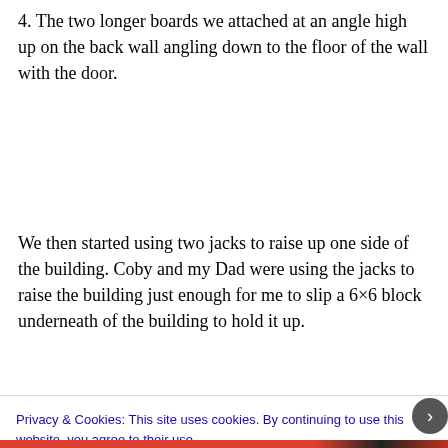4. The two longer boards we attached at an angle high up on the back wall angling down to the floor of the wall with the door.
We then started using two jacks to raise up one side of the building. Coby and my Dad were using the jacks to raise the building just enough for me to slip a 6×6 block underneath of the building to hold it up. The building has some rotten spots that gave way
Privacy & Cookies: This site uses cookies. By continuing to use this website, you agree to their use.
To find out more, including how to control cookies, see here: Cookie Policy